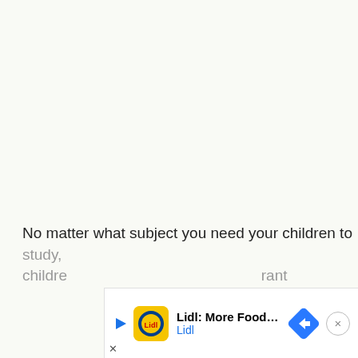No matter what subject you need your children to study, ... children ... ant
[Figure (other): Advertisement banner: Lidl: More Food for Less Money — Lidl logo, play button, navigation arrow icon, and close button]